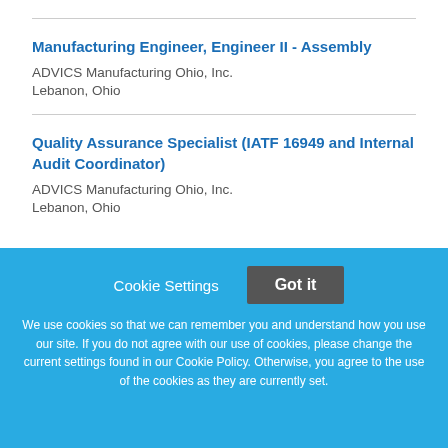Manufacturing Engineer, Engineer II - Assembly
ADVICS Manufacturing Ohio, Inc.
Lebanon, Ohio
Quality Assurance Specialist (IATF 16949 and Internal Audit Coordinator)
ADVICS Manufacturing Ohio, Inc.
Lebanon, Ohio
Cookie Settings
Got it
We use cookies so that we can remember you and understand how you use our site. If you do not agree with our use of cookies, please change the current settings found in our Cookie Policy. Otherwise, you agree to the use of the cookies as they are currently set.